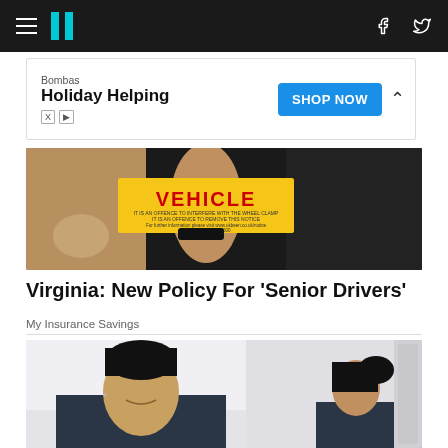HuffPost navigation with hamburger menu, logo, Facebook and Twitter icons
[Figure (other): Advertisement banner: Bombas Holiday Helping with SHOP NOW button]
[Figure (photo): Person holding a yellow vehicle clamping notice sign out of a car window]
Virginia: New Policy For 'Senior Drivers'
My Insurance Savings
[Figure (photo): Two women in dark blue/navy scrubs in a medical setting, one smiling at camera]